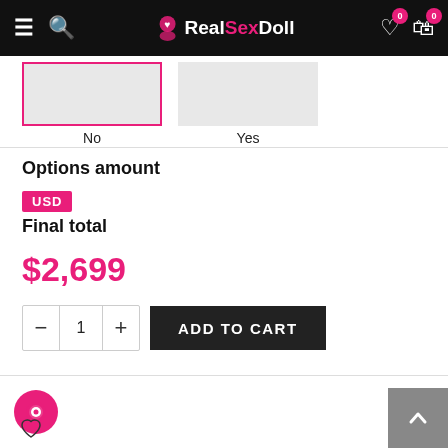RealSexDoll - navigation header with logo, search, wishlist and cart icons
[Figure (screenshot): Two product option image boxes labeled No and Yes, first box selected with pink border]
Options amount
USD
Final total
$2,699
ADD TO CART
[Figure (infographic): Pink chat bubble button and scroll-to-top grey button]